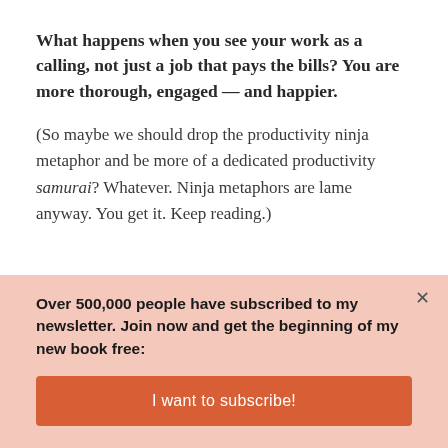What happens when you see your work as a calling, not just a job that pays the bills? You are more thorough, engaged — and happier.
(So maybe we should drop the productivity ninja metaphor and be more of a dedicated productivity samurai? Whatever. Ninja metaphors are lame anyway. You get it. Keep reading.)
Over 500,000 people have subscribed to my newsletter. Join now and get the beginning of my new book free:
I want to subscribe!